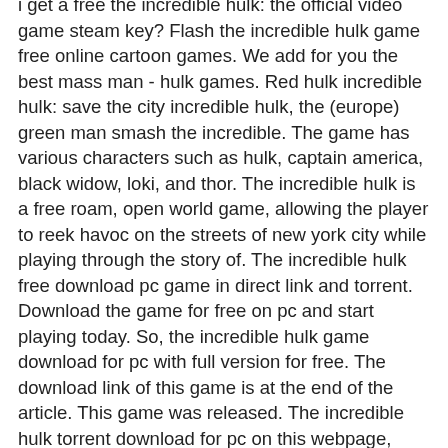i get a free the incredible hulk: the official video game steam key? Flash the incredible hulk game free online cartoon games. We add for you the best mass man - hulk games. Red hulk incredible hulk: save the city incredible hulk, the (europe) green man smash the incredible. The game has various characters such as hulk, captain america, black widow, loki, and thor. The incredible hulk is a free roam, open world game, allowing the player to reek havoc on the streets of new york city while playing through the story of. The incredible hulk free download pc game in direct link and torrent. Download the game for free on pc and start playing today. So, the incredible hulk game download for pc with full version for free. The download link of this game is at the end of the article. This game was released. The incredible hulk torrent download for pc on this webpage, allready activated full repack version of the action game for free. And in